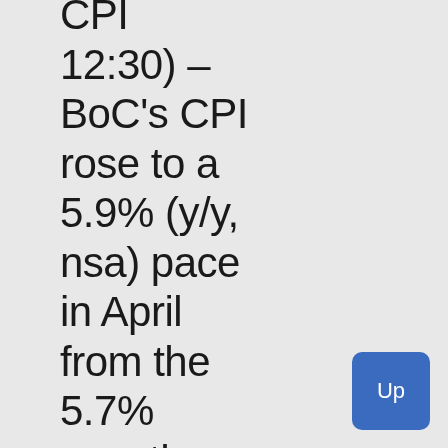CPI 12:30) – BoC's CPI rose to a 5.9% (y/y, nsa) pace in April from the 5.7% growth rate in March. Annual